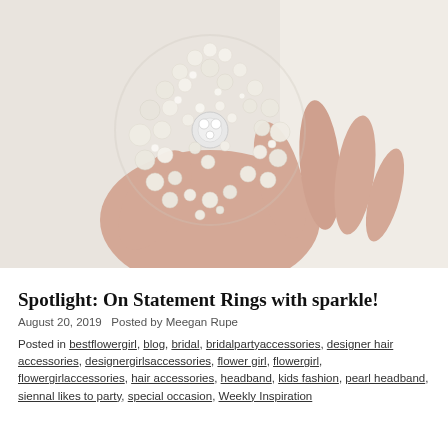[Figure (photo): Close-up photo of a hand holding a large decorative pearl flower ring/brooch made of many small white and cream-colored pearls arranged in a flower shape with a crystal/rhinestone center, against a white fabric background.]
Spotlight: On Statement Rings with sparkle!
August 20, 2019   Posted by Meegan Rupe
Posted in bestflowergirl, blog, bridal, bridalpartyaccessories, designer hair accessories, designergirlsaccessories, flower girl, flowergirl, flowergirlaccessories, hair accessories, headband, kids fashion, pearl headband, siennal likes to party, special occasion, Weekly Inspiration